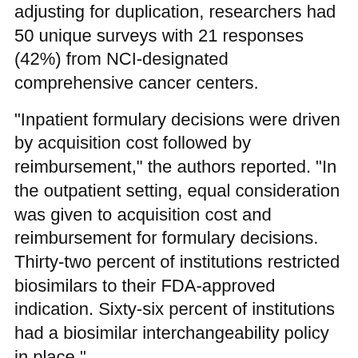adjusting for duplication, researchers had 50 unique surveys with 21 responses (42%) from NCI-designated comprehensive cancer centers.
"Inpatient formulary decisions were driven by acquisition cost followed by reimbursement," the authors reported. "In the outpatient setting, equal consideration was given to acquisition cost and reimbursement for formulary decisions. Thirty-two percent of institutions restricted biosimilars to their FDA-approved indication. Sixty-six percent of institutions had a biosimilar interchangeability policy in place."
Overall average utilization of biosimilars was 74% for bevacizumab, 88% for filgrastim, 82% for epoetin, 57% for infliximab, 52% for